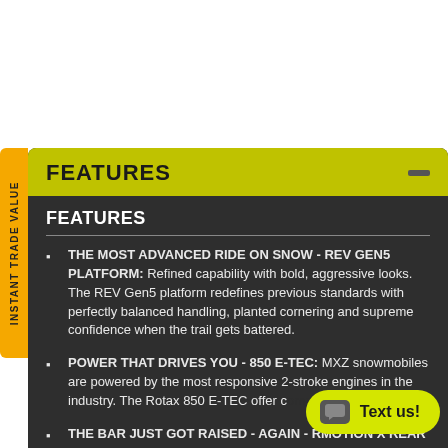FEATURES
FEATURES
THE MOST ADVANCED RIDE ON SNOW - REV GEN5 PLATFORM: Refined capability with bold, aggressive looks. The REV Gen5 platform redefines previous standards with perfectly balanced handling, planted cornering and supreme confidence when the trail gets battered.
POWER THAT DRIVES YOU - 850 E-TEC: MXZ snowmobiles are powered by the most responsive 2-stroke engines in the industry. The Rotax 850 E-TEC offer c... performance.
THE BAR JUST GOT RAISED - AGAIN - RMOTION X REAR